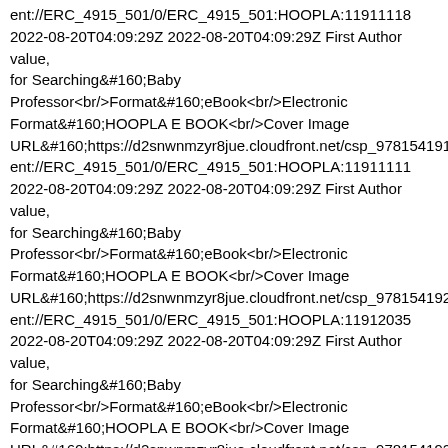ent://ERC_4915_501/0/ERC_4915_501:HOOPLA:11911118 2022-08-20T04:09:29Z 2022-08-20T04:09:29Z First Author value, for Searching&#160;Baby Professor<br/>Format&#160;eBook<br/>Electronic Format&#160;HOOPLA E BOOK<br/>Cover Image URL&#160;https://d2snwnmzyr8jue.cloudfront.net/csp_9781541918 ent://ERC_4915_501/0/ERC_4915_501:HOOPLA:11911111 2022-08-20T04:09:29Z 2022-08-20T04:09:29Z First Author value, for Searching&#160;Baby Professor<br/>Format&#160;eBook<br/>Electronic Format&#160;HOOPLA E BOOK<br/>Cover Image URL&#160;https://d2snwnmzyr8jue.cloudfront.net/csp_9781541920 ent://ERC_4915_501/0/ERC_4915_501:HOOPLA:11912035 2022-08-20T04:09:29Z 2022-08-20T04:09:29Z First Author value, for Searching&#160;Baby Professor<br/>Format&#160;eBook<br/>Electronic Format&#160;HOOPLA E BOOK<br/>Cover Image URL&#160;https://d2snwnmzyr8jue.cloudfront.net/csp_9781541921 ent://ERC_4915_501/0/ERC_4915_501:HOOPLA:11911318 2022-08-20T04:09:29Z 2022-08-20T04:09:29Z First Author value, for Searching&#160;Baby Professor<br/>Format&#160;eBook<br/>Electronic Format&#160;HOOPLA E BOOK<br/>Cover Image URL&#160;https://d2snwnmzyr8jue.cloudfront.net/csp_9781541920 ent://ERC_4915_501/0/ERC_4915_501:HOOPLA:11911348 2022-08-20T04:09:29Z 2022-08-20T04:09:29Z First Author value,